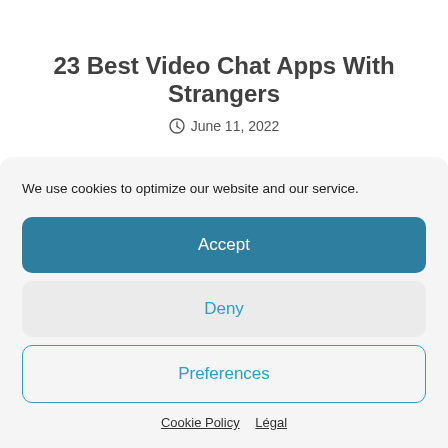23 Best Video Chat Apps With Strangers
June 11, 2022
We use cookies to optimize our website and our service.
Accept
Deny
Preferences
Cookie Policy   Légal